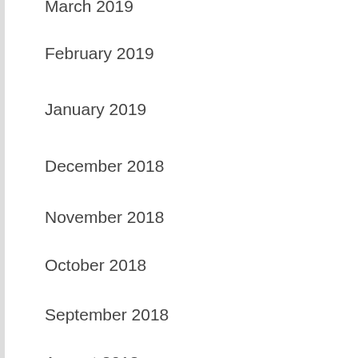March 2019
February 2019
January 2019
December 2018
November 2018
October 2018
September 2018
August 2018
July 2018
[Figure (infographic): BitLife advertisement banner with emojis (devil, person shrugging, angel) on a red dotted background, with 'BitLife REAL CHOICES' text and infolinks label]